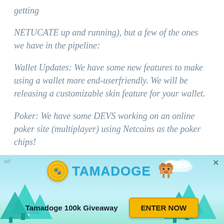getting
NETUCATE up and running), but a few of the ones we have in the pipeline:
Wallet Updates: We have some new features to make using a wallet more end-userfriendly. We will be releasing a customizable skin feature for your wallet.
Poker: We have some DEVS working on an online poker site (multiplayer) using Netcoins as the poker chips!
[Figure (infographic): Tamadoge advertisement banner with light blue sky and tree background. Shows Tamadoge coin logo, brand name, a cartoon dog character, 'Tamadoge 100k Giveaway' text, and 'ENTER NOW' yellow button. Top-left shows 'ad' label, top-right shows close X button.]